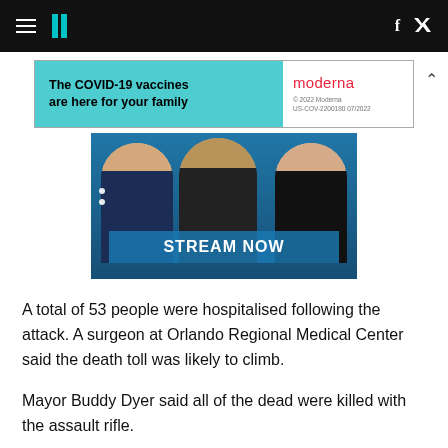HuffPost navigation bar with hamburger menu, logo, Facebook and Twitter icons
[Figure (infographic): Moderna COVID-19 vaccine advertisement banner: teal left panel with text 'The COVID-19 vaccines are here for your family', white right panel with Moderna logo and fine print]
[Figure (photo): Three TV news anchors/presenters in front of a blue studio background with 'STREAM NOW' overlay text and navigation dots on the left]
A total of 53 people were hospitalised following the attack. A surgeon at Orlando Regional Medical Center said the death toll was likely to climb.
Mayor Buddy Dyer said all of the dead were killed with the assault rifle.